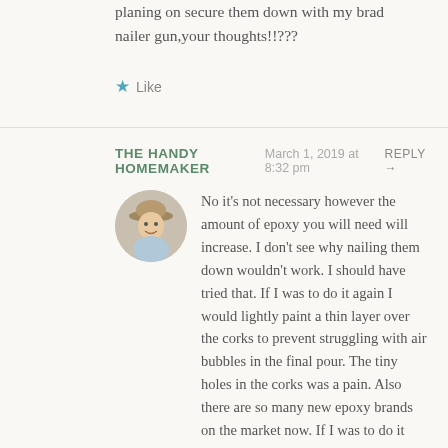planing on secure them down with my brad nailer gun,your thoughts!!???
Like
THE HANDY HOMEMAKER   March 1, 2019 at 8:32 pm   REPLY →
No it's not necessary however the amount of epoxy you will need will increase. I don't see why nailing them down wouldn't work. I should have tried that. If I was to do it again I would lightly paint a thin layer over the corks to prevent struggling with air bubbles in the final pour. The tiny holes in the corks was a pain. Also there are so many new epoxy brands on the market now. If I was to do it over again I would look at using Ecopoxy brand.